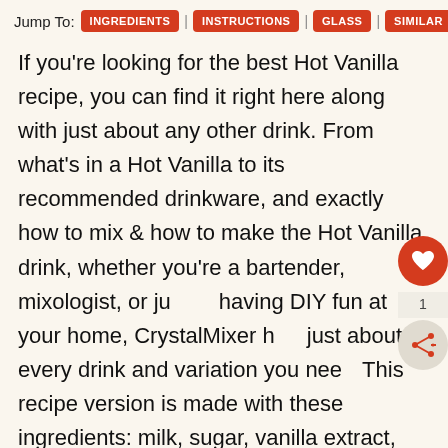Jump To: INGREDIENTS | INSTRUCTIONS | GLASS | SIMILAR
If you're looking for the best Hot Vanilla recipe, you can find it right here along with just about any other drink. From what's in a Hot Vanilla to its recommended drinkware, and exactly how to mix & how to make the Hot Vanilla drink, whether you're a bartender, mixologist, or just having DIY fun at your home, CrystalMixer has just about every drink and variation you need. This recipe version is made with these ingredients: milk, sugar, vanilla extract, nutmeg.